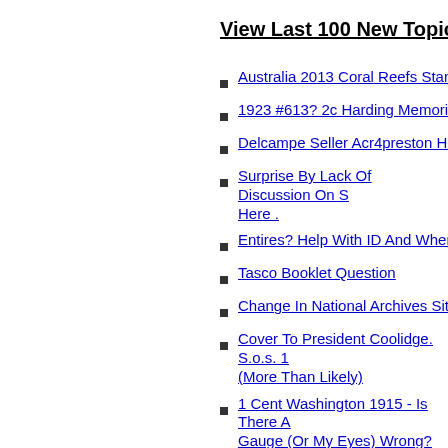View Last 100 New Topics
Australia 2013 Coral Reefs Stamps S...
1923 #613? 2c Harding Memorial Sta...
Delcampe Seller Acr4preston Help R...
Surprise By Lack Of Discussion On S... Here .
Entires? Help With ID And Where To ...
Tasco Booklet Question
Change In National Archives Site To ...
Cover To President Coolidge. S.o.s. ... (More Than Likely)
1 Cent Washington 1915 - Is There A... Gauge (Or My Eyes) Wrong?
The Marker Monkey And Revenue St...
Japanese 1 Sen - 10 Sen
New Zealand Scott B24 Inverted Wat...
How To Collect "metered Mail" Enve...